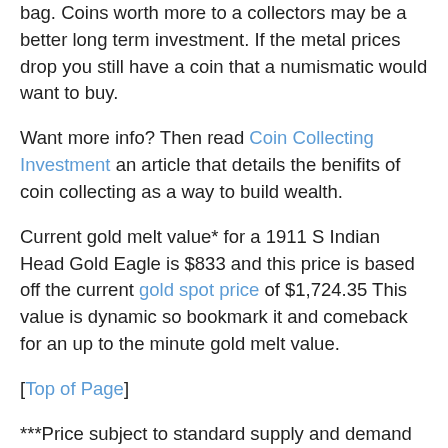bag. Coins worth more to a collectors may be a better long term investment. If the metal prices drop you still have a coin that a numismatic would want to buy.
Want more info? Then read Coin Collecting Investment an article that details the benifits of coin collecting as a way to build wealth.
Current gold melt value* for a 1911 S Indian Head Gold Eagle is $833 and this price is based off the current gold spot price of $1,724.35 This value is dynamic so bookmark it and comeback for an up to the minute gold melt value.
[Top of Page]
***Price subject to standard supply and demand laws, dealer premiums, and other market variations. Prices represent past values fetched at online auctions, estate sales, certified coins being